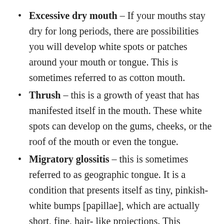Excessive dry mouth – If your mouths stay dry for long periods, there are possibilities you will develop white spots or patches around your mouth or tongue. This is sometimes referred to as cotton mouth.
Thrush – this is a growth of yeast that has manifested itself in the mouth. These white spots can develop on the gums, cheeks, or the roof of the mouth or even the tongue.
Migratory glossitis – this is sometimes referred to as geographic tongue. It is a condition that presents itself as tiny, pinkish- white bumps [papillae], which are actually short, fine, hair- like projections. This condition is noncancerous, and has no risks to the